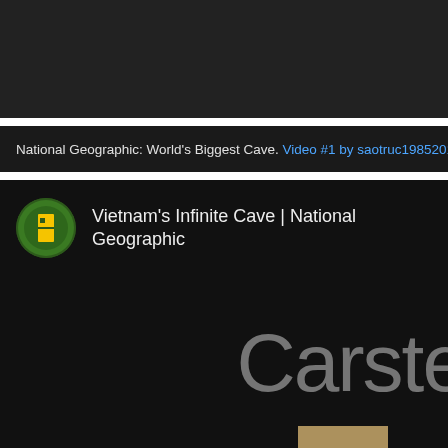[Figure (screenshot): Dark video player area at top of page, black background]
National Geographic: World's Biggest Cave. Video #1 by saotruc19852010
[Figure (screenshot): YouTube video thumbnail for 'Vietnam's Infinite Cave | National Geographic' with National Geographic logo and partial 'Carste' text overlay on dark background]